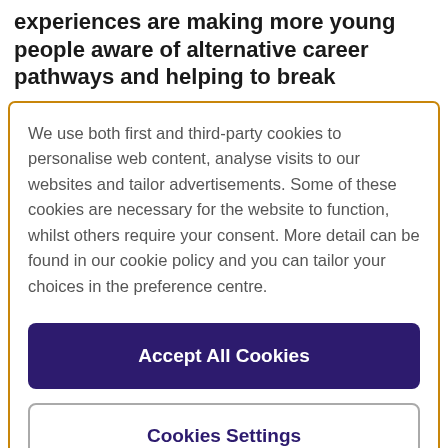experiences are making more young people aware of alternative career pathways and helping to break
We use both first and third-party cookies to personalise web content, analyse visits to our websites and tailor advertisements. Some of these cookies are necessary for the website to function, whilst others require your consent. More detail can be found in our cookie policy and you can tailor your choices in the preference centre.
Accept All Cookies
Cookies Settings